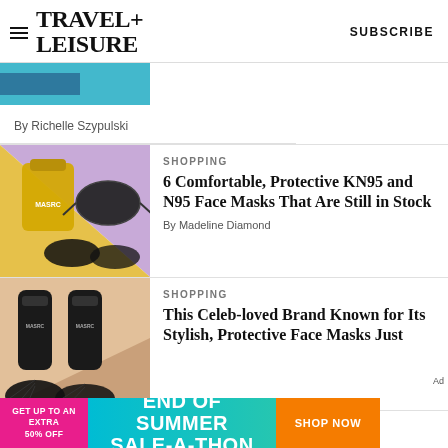TRAVEL+ LEISURE  SUBSCRIBE
[Figure (photo): Partial image of a blue-teal travel item, cropped at top]
By Richelle Szypulski
[Figure (photo): KN95 black face masks and a yellow/gold package on a pink-purple and yellow background]
SHOPPING
6 Comfortable, Protective KN95 and N95 Face Masks That Are Still in Stock
By Madeline Diamond
[Figure (photo): Two dark/black cylindrical product bottles (MASRC brand) on a peach/tan background with black mask fans below]
SHOPPING
This Celeb-loved Brand Known for Its Stylish, Protective Face Masks Just…
[Figure (infographic): Advertisement banner: GET UP TO AN EXTRA 50% OFF  END OF SUMMER SALE-A-THON  SHOP NOW]